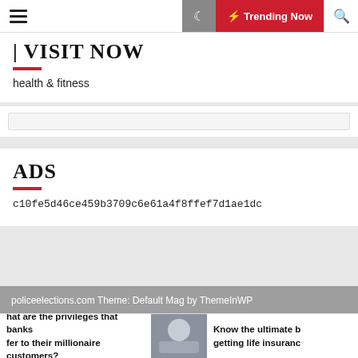Trending Now
| VISIT NOW
health & fitness
[Figure (other): Search input bar]
ADS
c10fe5d46ce459b3709c6e61a4f8ffef7d1ae1dc
policeelections.com Theme: Default Mag by ThemeInWP
hat are the privileges that banks fer to their millionaire customers?
Know the ultimate b getting life insuran